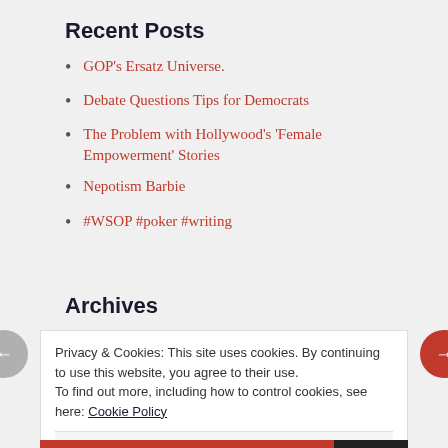Recent Posts
GOP's Ersatz Universe.
Debate Questions Tips for Democrats
The Problem with Hollywood's 'Female Empowerment' Stories
Nepotism Barbie
#WSOP #poker #writing
Archives
Privacy & Cookies: This site uses cookies. By continuing to use this website, you agree to their use.
To find out more, including how to control cookies, see here: Cookie Policy
Close and accept